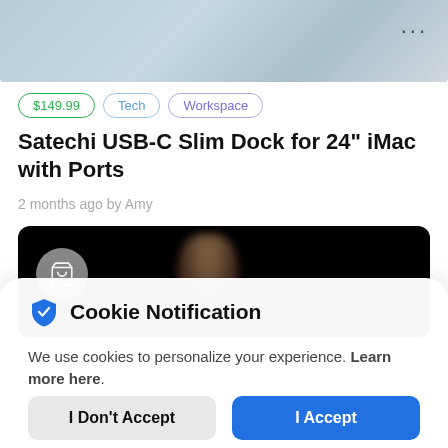[Figure (photo): Top portion of a product image, light blue/silver gradient background with three dots menu icon in upper right]
$149.99
Tech
Workspace
Satechi USB-C Slim Dock for 24" iMac with Ports
2 months ago by Amy
[Figure (photo): Black background video thumbnail with a shopping cart icon circle on the left and a blurred person silhouette in the center]
Cookie Notification
We use cookies to personalize your experience. Learn more here.
I Don't Accept
I Accept